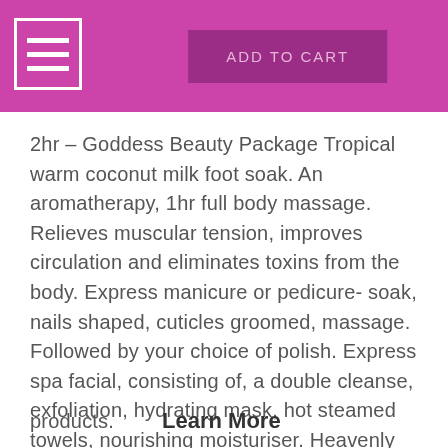[Figure (screenshot): Pink/magenta header bar with hamburger menu icon on the left and an 'ADD TO CART' button in the center]
2hr – Goddess Beauty Package Tropical warm coconut milk foot soak. An aromatherapy, 1hr full body massage. Relieves muscular tension, improves circulation and eliminates toxins from the body. Express manicure or pedicure- soak, nails shaped, cuticles groomed, massage. Followed by your choice of polish. Express spa facial, consisting of, a double cleanse, exfoliation, hydrating mask, hot steamed towels, nourishing moisturiser. Heavenly head and scalp massage. Gift from the range of Inertia products.
Learn More